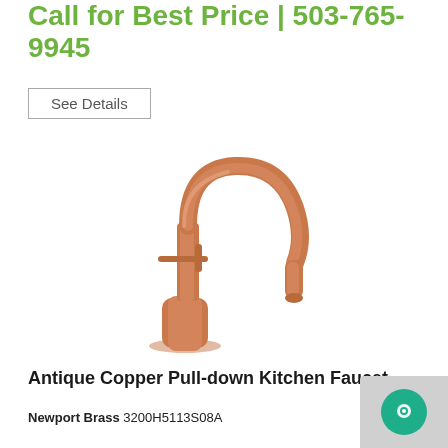Call for Best Price | 503-765-9945
See Details
[Figure (photo): Antique copper pull-down kitchen faucet with a tall gooseneck spout, single lever handle, and cylindrical base]
Antique Copper Pull-down Kitchen Faucet
Newport Brass 3200H5113S08A